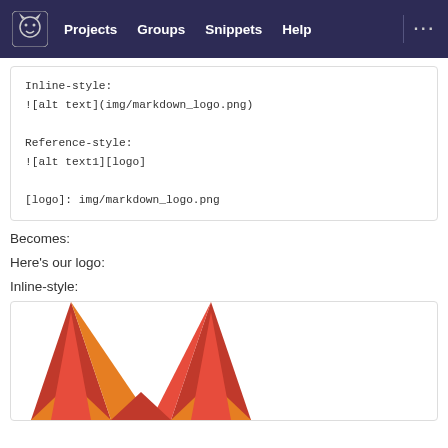Projects  Groups  Snippets  Help  ...
Inline-style:
![alt text](img/markdown_logo.png)

Reference-style:
![alt text1][logo]

[logo]: img/markdown_logo.png
Becomes:
Here's our logo:
Inline-style:
[Figure (logo): GitLab fox logo — orange and red fox ears/face, partially visible, cropped at bottom]